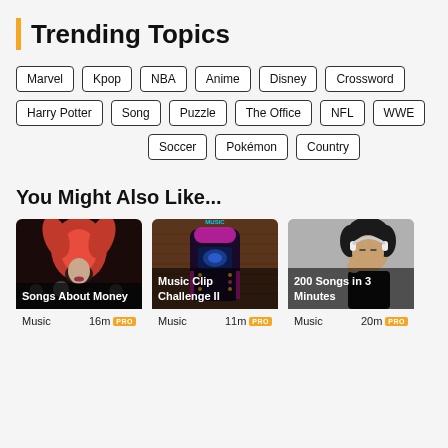Trending Topics
Marvel
Kpop
NBA
Anime
Disney
Crossword
Harry Potter
Song
Puzzle
The Office
NFL
WWE
Soccer
Pokémon
Country
You Might Also Like...
[Figure (photo): Woman with red feather headdress at a party, dark background, other people visible]
Songs About Money
Music  16m  PRO
[Figure (photo): Glowing jukebox against brick wall background with MUSIC sign]
Music Clip Challenge II
Music  11m  PRO
[Figure (photo): Young man with curly hair wearing white headphones, eyes closed]
200 Songs in 3 Minutes
Music  20m  PRO